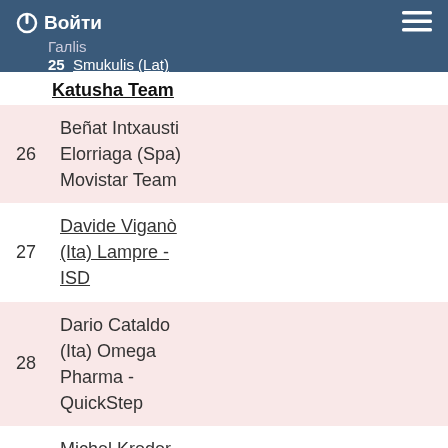Войти | Галlis 25 Smukulis (Lat)
Katusha Team
26 Beñat Intxausti Elorriaga (Spa) Movistar Team
27 Davide Viganò (Ita) Lampre - ISD
28 Dario Cataldo (Ita) Omega Pharma - QuickStep
29 Michel Kreder (Ned) Garmin-Sharp
30 Andrew Talansky (Usa) Garmin-Sharp
31 Nico Sijmens (Bel) Cofidis,